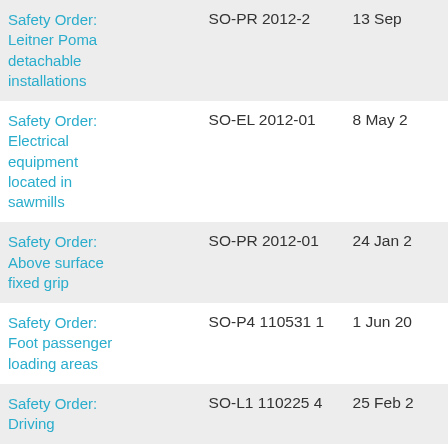| Title | Reference | Date |
| --- | --- | --- |
| Safety Order: Leitner Poma detachable installations | SO-PR 2012-2 | 13 Sep |
| Safety Order: Electrical equipment located in sawmills | SO-EL 2012-01 | 8 May 2 |
| Safety Order: Above surface fixed grip | SO-PR 2012-01 | 24 Jan 2 |
| Safety Order: Foot passenger loading areas | SO-P4 110531 1 | 1 Jun 20 |
| Safety Order: Driving | SO-L1 110225 4 | 25 Feb 2 |